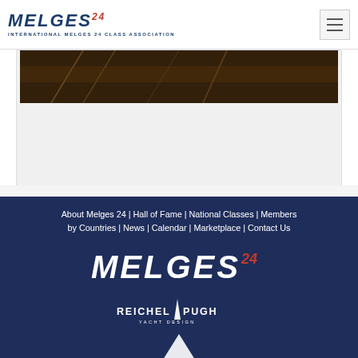MELGES 24 — INTERNATIONAL MELGES 24 CLASS ASSOCIATION
[Figure (photo): Dark brown/sepia tone sailing/rigging photo strip at top of content card]
About Melges 24 | Hall of Fame | National Classes | Members by Countries | News | Calendar | Marketplace | Contact Us
[Figure (logo): Melges 24 logo in white italic bold lettering on dark navy background]
[Figure (logo): Reichel/Pugh Yacht Design logo in white on dark navy background]
[Figure (logo): Partial white triangle/sail logo at bottom of page]